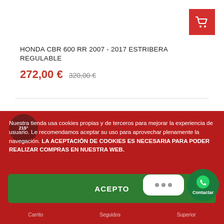[Figure (other): Red shopping cart icon button in top right corner]
HONDA CBR 600 RR 2007 - 2017 ESTRIBERA REGULABLE
272,00 € 320,00 €
Nuestra tienda usa cookies propias y de terceros para mejorar la experiencia de usuario. Le recomendamos aceptar su uso para aprovechar plenamente la navegación. LA ACEPTACIÓN DE COOKIES ES NECESARIA PARA PODER REALIZAR COMPRAS EN NUESTRA WEB.
Más información   Gestionar cookies
ACEPTO
Carrito   Seguidos   Superior